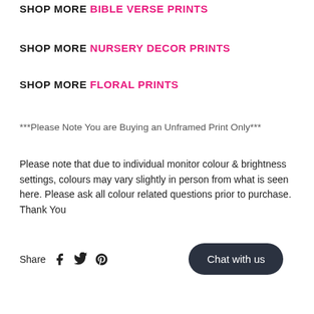SHOP MORE BIBLE VERSE PRINTS
SHOP MORE NURSERY DECOR PRINTS
SHOP MORE FLORAL PRINTS
***Please Note You are Buying an Unframed Print Only***
Please note that due to individual monitor colour & brightness settings, colours may vary slightly in person from what is seen here. Please ask all colour related questions prior to purchase. Thank You
Share
[Figure (other): Chat with us button]
Chat with us